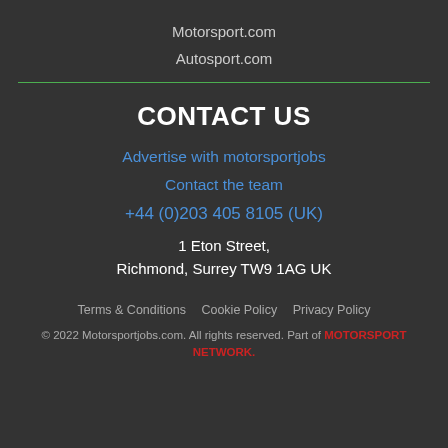Motorsport.com
Autosport.com
CONTACT US
Advertise with motorsportjobs
Contact the team
+44 (0)203 405 8105 (UK)
1 Eton Street,
Richmond, Surrey TW9 1AG UK
Terms & Conditions   Cookie Policy   Privacy Policy
© 2022 Motorsportjobs.com. All rights reserved. Part of MOTORSPORT NETWORK.